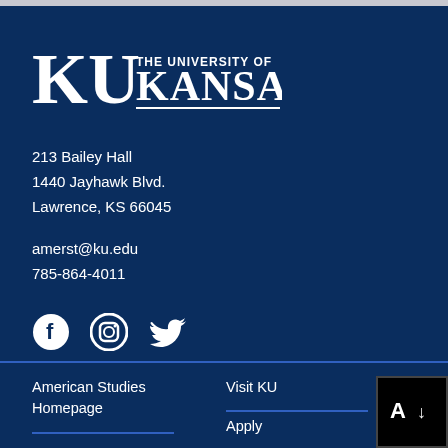[Figure (logo): University of Kansas (KU) logo in white on dark navy background. Large KU letters on left, 'THE UNIVERSITY OF KANSAS' text on right with underline.]
213 Bailey Hall
1440 Jayhawk Blvd.
Lawrence, KS 66045
amerst@ku.edu
785-864-4011
[Figure (infographic): Social media icons: Facebook circle icon, Instagram circle icon, Twitter bird icon, all in white.]
American Studies Homepage
Visit KU
Apply
[Figure (other): Black box with white 'A' and down-arrow icon in bottom right corner.]